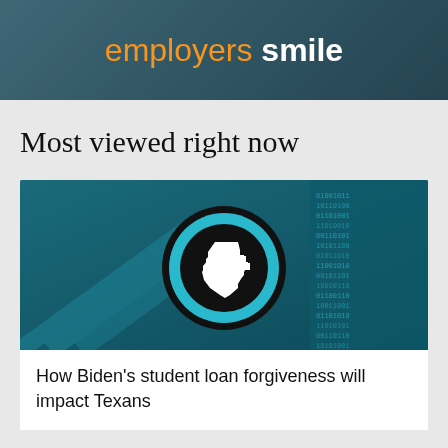[Figure (photo): Advertisement banner with dark teal/blue background showing text 'employers smile' with 'employers' in orange and 'smile' in bold white]
Most viewed right now
[Figure (photo): Article thumbnail image with teal/dark blue background showing a Texas logo (white Texas state shape inside a black circle with cyan/blue ring) overlaid on a staircase scene]
How Biden's student loan forgiveness will impact Texans